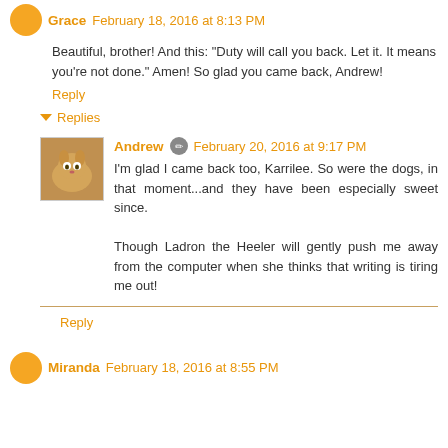Grace February 18, 2016 at 8:13 PM
Beautiful, brother! And this: "Duty will call you back. Let it. It means you're not done." Amen! So glad you came back, Andrew!
Reply
Replies
Andrew February 20, 2016 at 9:17 PM
I'm glad I came back too, Karrilee. So were the dogs, in that moment...and they have been especially sweet since.

Though Ladron the Heeler will gently push me away from the computer when she thinks that writing is tiring me out!
Reply
Miranda February 18, 2016 at 8:55 PM